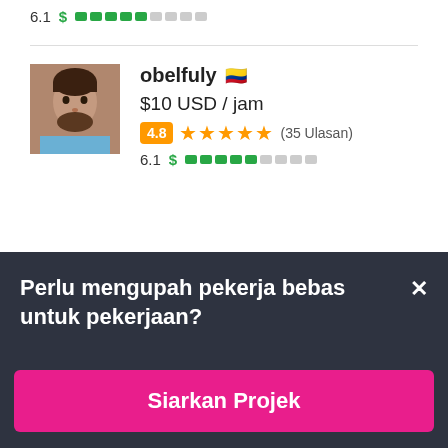6.1 $ [dollar bar]
[Figure (photo): Profile photo of obelfuly, a man with beard]
obelfuly 🇨🇴
$10 USD / jam
4.8 ★★★★★ (35 Ulasan)
6.1 $ [dollar bar]
Perlu mengupah pekerja bebas untuk pekerjaan?
Siarkan Projek